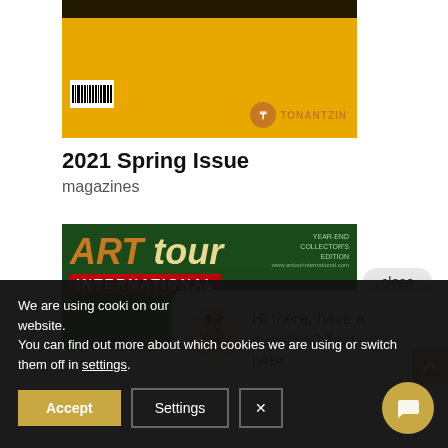[Figure (photo): Magazine cover for Tonantzin 2021 Spring Issue with yellow/gold background, stylized figure, barcode, and Tonantzin logo]
2021 Spring Issue
magazines
[Figure (photo): ART tour INTERNATIONAL magazine cover with forest/green background]
close
Hi there, have a question? Text us here.
We are using cookies on our website.
You can find out more about which cookies we are using or switch them off in settings.
Accept
Settings
×